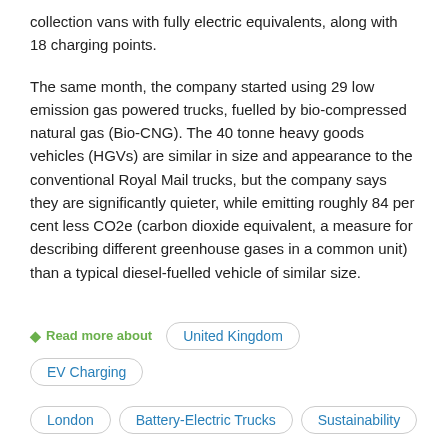collection vans with fully electric equivalents, along with 18 charging points.
The same month, the company started using 29 low emission gas powered trucks, fuelled by bio-compressed natural gas (Bio-CNG). The 40 tonne heavy goods vehicles (HGVs) are similar in size and appearance to the conventional Royal Mail trucks, but the company says they are significantly quieter, while emitting roughly 84 per cent less CO2e (carbon dioxide equivalent, a measure for describing different greenhouse gases in a common unit) than a typical diesel-fuelled vehicle of similar size.
Read more about | United Kingdom | EV Charging | London | Battery-Electric Trucks | Sustainability